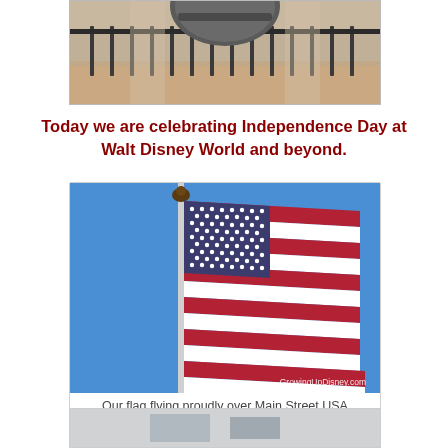[Figure (photo): Partial view of a bell or monument structure with iron fencing, cropped at top of page]
Today we are celebrating Independence Day at Walt Disney World and beyond.
[Figure (photo): American flag flying on a pole with a bald eagle finial against a clear blue sky, with watermark GrowingUpDisney.com]
Our flag flying proudly over Main Street USA
[Figure (photo): Partial bottom photo, appears to be another scene, cropped at bottom of page]